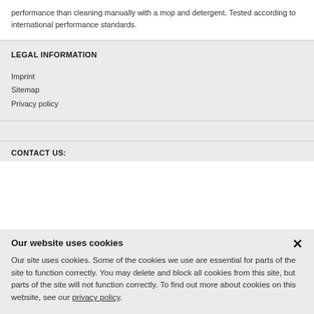performance than cleaning manually with a mop and detergent. Tested according to international performance standards.
LEGAL INFORMATION
Imprint
Sitemap
Privacy policy
CONTACT US:
Our website uses cookies
Our site uses cookies. Some of the cookies we use are essential for parts of the site to function correctly. You may delete and block all cookies from this site, but parts of the site will not function correctly. To find out more about cookies on this website, see our privacy policy.